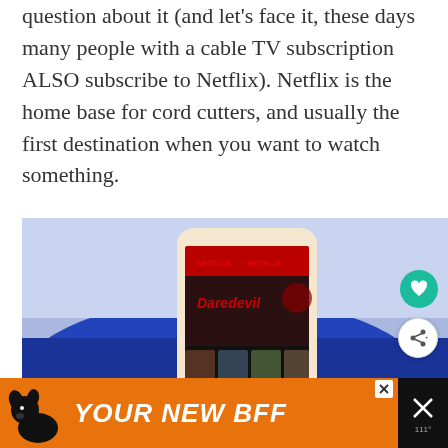question about it (and let's face it, these days many people with a cable TV subscription ALSO subscribe to Netflix). Netflix is the home base for cord cutters, and usually the first destination when you want to watch something.
[Figure (photo): A hand holding a smartphone displaying the Netflix app with a Daredevil show visible, positioned against a blue background. Teal heart button and white share button overlay on the right side.]
[Figure (photo): Orange advertisement banner at the bottom featuring a black and white dog silhouette and the text YOUR NEW BFF in large white italic bold letters.]